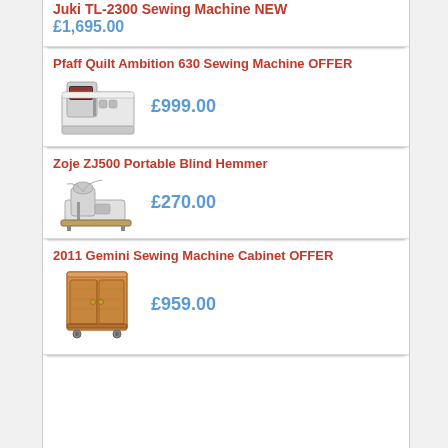Juki TL-2300 Sewing Machine NEW
£1,695.00
Pfaff Quilt Ambition 630 Sewing Machine OFFER
[Figure (photo): Pfaff Quilt Ambition 630 sewing machine, dark body with red display screen]
£999.00
Zoje ZJ500 Portable Blind Hemmer
[Figure (photo): Zoje ZJ500 industrial portable blind hemmer sewing machine on base plate]
£270.00
2011 Gemini Sewing Machine Cabinet OFFER
[Figure (photo): Wooden sewing machine cabinet with two doors and wheels, light oak/beech finish]
£959.00